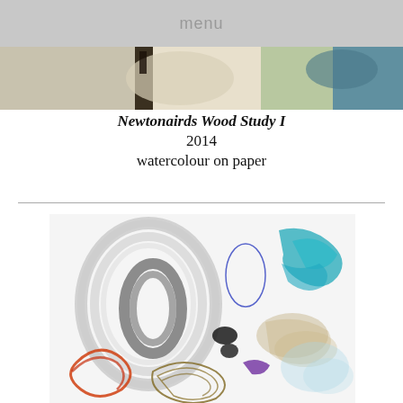menu
[Figure (photo): Partial view of an abstract painting showing muted greens, blues, and whites — the bottom portion of a larger artwork above the title block]
Newtonairds Wood Study I
2014
watercolour on paper
[Figure (photo): Abstract watercolour painting on white paper featuring swirling grey brushstrokes forming oval shapes on the left, blue fluid marks in the upper right, a small purple element, black ink marks in the center, an orange/red looping form at lower left, olive/gold swirling lines at bottom center, and beige/tan fluid washes in the lower right area]